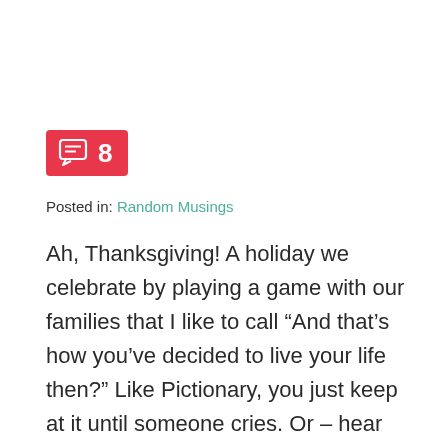[Figure (other): Red badge with comment icon and number 8]
Posted in: Random Musings
Ah, Thanksgiving! A holiday we celebrate by playing a game with our families that I like to call “And that’s how you’ve decided to live your life then?” Like Pictionary, you just keep at it until someone cries. Or – hear me out – you could just stay home for the holidays, closing the curtains...